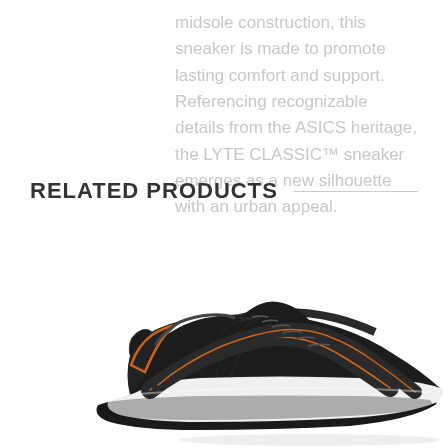midsole construction, this sneaker is made to promote lasting comfort and support. Referencing recognizable details from the ASICS heritage, the LYTE CLASSIC™ sneaker emerges as a new silhouette with an urban appeal.
RELATED PRODUCTS
[Figure (photo): ASICS running sneaker in black with orange and grey details, white midsole, shown from a side/angled view]